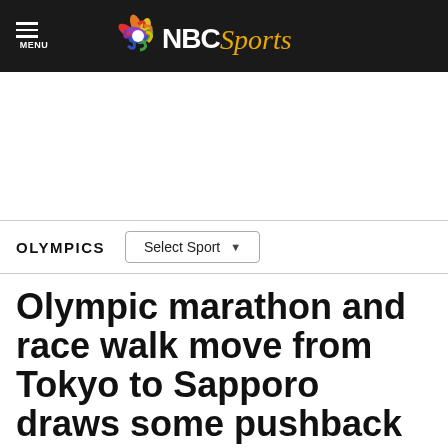NBC Sports
OLYMPICS
Olympic marathon and race walk move from Tokyo to Sapporo draws some pushback
By Beau Dure   Oct 17, 2019, 12:39 PM EDT